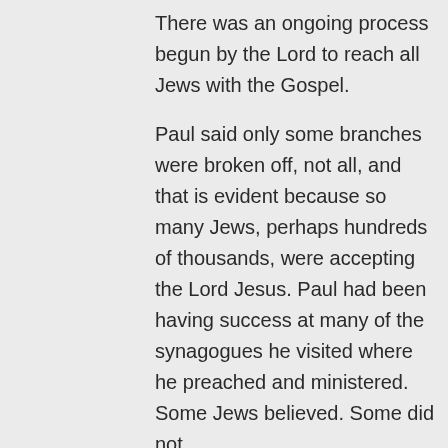There was an ongoing process begun by the Lord to reach all Jews with the Gospel.
Paul said only some branches were broken off, not all, and that is evident because so many Jews, perhaps hundreds of thousands, were accepting the Lord Jesus. Paul had been having success at many of the synagogues he visited where he preached and ministered. Some Jews believed. Some did not